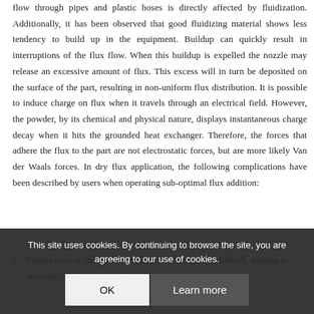flow through pipes and plastic hoses is directly affected by fluidization. Additionally, it has been observed that good fluidizing material shows less tendency to build up in the equipment. Buildup can quickly result in interruptions of the flux flow. When this buildup is expelled the nozzle may release an excessive amount of flux. This excess will in turn be deposited on the surface of the part, resulting in non-uniform flux distribution. It is possible to induce charge on flux when it travels through an electrical field. However, the powder, by its chemical and physical nature, displays instantaneous charge decay when it hits the grounded heat exchanger. Therefore, the forces that adhere the flux to the part are not electrostatic forces, but are more likely Van der Waals forces. In dry flux application, the following complications have been described by users when operating sub-optimal flux addition:
Fluidization in the blower and material transport is difficult, making it necessary to improve on the ...
This site uses cookies. By continuing to browse the site, you are agreeing to our use of cookies.